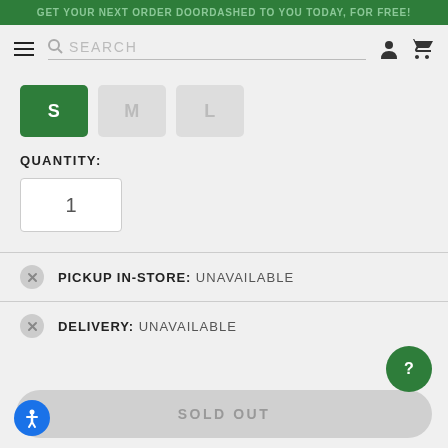GET YOUR NEXT ORDER DOORDASHED TO YOU TODAY, FOR FREE!
[Figure (screenshot): Navigation bar with hamburger menu, search bar, user icon, and cart icon]
[Figure (infographic): Size selector buttons: S (active/green), M (inactive), L (inactive)]
QUANTITY:
[Figure (infographic): Quantity input box showing value 1]
PICKUP IN-STORE: UNAVAILABLE
DELIVERY: UNAVAILABLE
[Figure (infographic): SOLD OUT button (greyed out)]